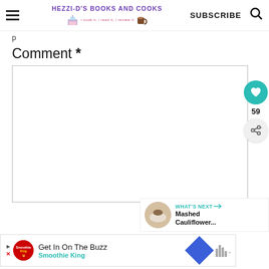HEZZI-D'S BOOKS AND COOKS | SUBSCRIBE
p
Comment *
[Figure (screenshot): Empty comment text area input box with border]
[Figure (infographic): Heart/like button (teal circle, heart icon), count 59, share button (gray circle)]
[Figure (infographic): What's Next panel: image of mashed cauliflower dish, label 'WHAT'S NEXT ->', title 'Mashed Cauliflower...']
[Figure (infographic): Advertisement bar: Smoothie King ad - 'Get In On The Buzz', Smoothie King brand name, blue diamond icon, waveform icon]